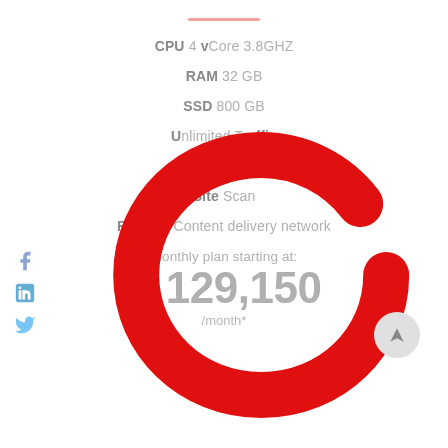CPU 4 vCore 3.8GHZ
RAM 32 GB
SSD 800 GB
Unlimited Traffic
Free Domain
Site Scan
Railgun Content delivery network
Monthly plan starting at:
₦ 129,150
/month*
[Figure (illustration): Large red letter C overlaid on the page]